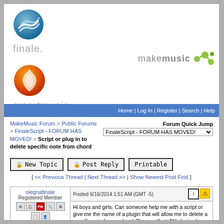[Figure (logo): Finale logo - blue circle with wave lines above text 'finale.' in gray]
[Figure (logo): MakeMusic logo - 'makemusic' text with green molecule icon]
[Figure (logo): SmartMusic logo - orange/red flame circle above text 'smartmusic.' in gray]
Home | Log In | Register | Search | Help
MakeMusic Forum > Public Forums > FinaleScript - FORUM HAS MOVED! > Script or plug in to delete specific note from chord
Forum Quick Jump
FinaleScript - FORUM HAS MOVED!
[ New Topic | Post Reply | Printable ]
[ << Previous Thread | Next Thread >> | Show Newest Post First ]
olegnafinale
Registered Member
Date Joined Jun 2014
Total Posts : 3
Posted 6/16/2014 1:51 AM (GMT -5)
Hi boys and girls. Can someone help me with a script or give me the name of a plugin that will allow me to delete a specific note from a chord. The excellent JW plugins have a facility to change one note to another but I need to be able to delete one note to another but I need to be able to delete